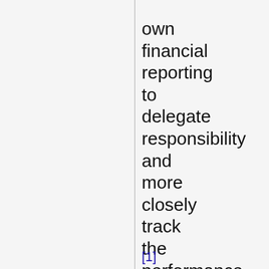own financial reporting to delegate responsibility and more closely track the performance of each unit.
[1]